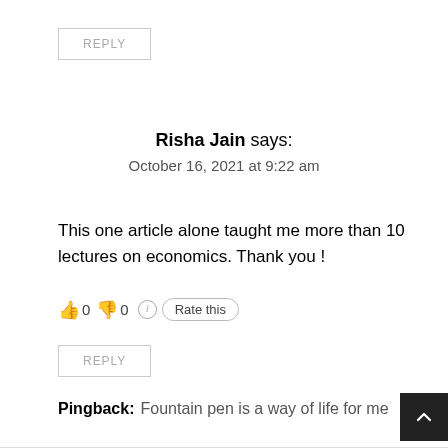REPLY
Risha Jain says:
October 16, 2021 at 9:22 am
This one article alone taught me more than 10 lectures on economics. Thank you !
👍 0 👎 0 ⓘ Rate this
REPLY
Pingback: Fountain pen is a way of life for me